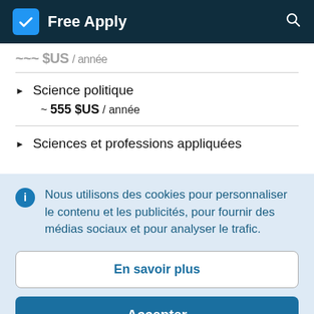Free Apply
~~~ $US / année
Science politique
~ 555 $US / année
Sciences et professions appliquées
Nous utilisons des cookies pour personnaliser le contenu et les publicités, pour fournir des médias sociaux et pour analyser le trafic.
En savoir plus
Accepter